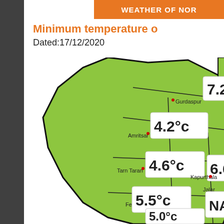WEATHER OF NOR...
Minimum temperature o
Dated:17/12/2020
[Figure (map): Map of Punjab (India) showing minimum temperatures for various districts on 17/12/2020. Visible temperature values: Gurdaspur 7.2°, Amritsar 4.2°c, Tarn Taran 4.6°c, Kapurthala 6.6°, Jalandhar NA*, Ferozpur 5.5°c, Moga 5.0°c]